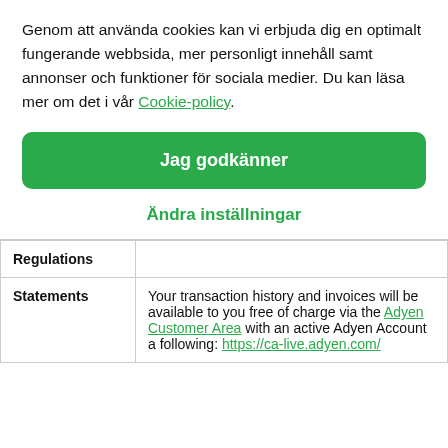Genom att använda cookies kan vi erbjuda dig en optimalt fungerande webbsida, mer personligt innehåll samt annonser och funktioner för sociala medier. Du kan läsa mer om det i vår Cookie-policy.
Jag godkänner
Ändra inställningar
|  |  |
| --- | --- |
| Regulations |  |
| Statements | Your transaction history and invoices will be available to you free of charge via the Adyen Customer Area with an active Adyen Account a following: https://ca-live.adyen.com/ |